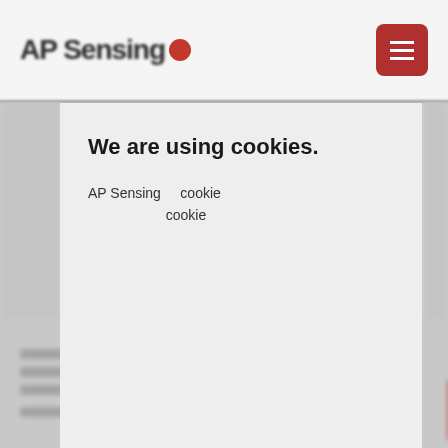[Figure (logo): AP Sensing logo with red dot, blurred]
[Figure (other): Red hamburger menu button in top right corner]
We are using cookies.
AP Sensing   cookie
cookie
[Figure (other): Green accept/ok button rectangle]
Blurred background body text paragraphs